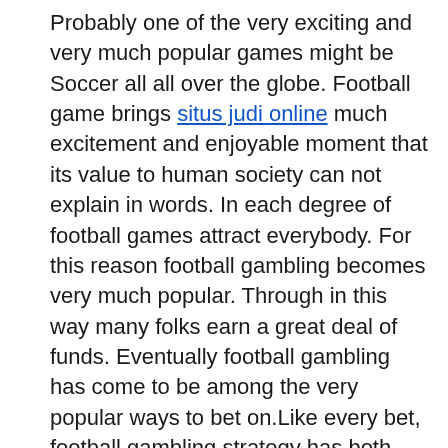Probably one of the very exciting and very much popular games might be Soccer all all over the globe. Football game brings situs judi online much excitement and enjoyable moment that its value to human society can not explain in words. In each degree of football games attract everybody. For this reason football gambling becomes very much popular. Through in this way many folks earn a great deal of funds. Eventually football gambling has come to be among the very popular ways to bet on.Like every bet, football gambling strategy has both merits and demerits. It might bring plenty of money in the event that you are prepared to get some several risks.Merits:• the most essential thing is that a lot of the full time earning through betting is wholly tax free. Just if spread gambling system is put on. Then the winning bettors could get a fantastic capital. • In case your decision is clear and your lucks prefer, then you are able to make a large amount of capital using a tiny